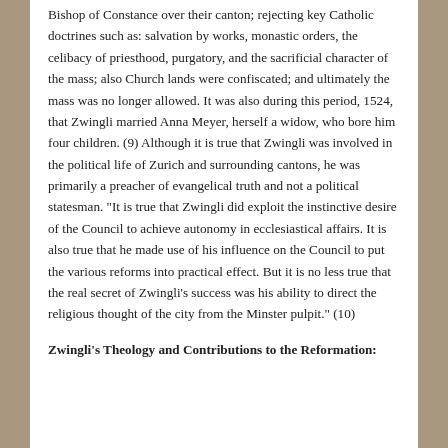Bishop of Constance over their canton; rejecting key Catholic doctrines such as: salvation by works, monastic orders, the celibacy of priesthood, purgatory, and the sacrificial character of the mass; also Church lands were confiscated; and ultimately the mass was no longer allowed. It was also during this period, 1524, that Zwingli married Anna Meyer, herself a widow, who bore him four children. (9) Although it is true that Zwingli was involved in the political life of Zurich and surrounding cantons, he was primarily a preacher of evangelical truth and not a political statesman. "It is true that Zwingli did exploit the instinctive desire of the Council to achieve autonomy in ecclesiastical affairs. It is also true that he made use of his influence on the Council to put the various reforms into practical effect. But it is no less true that the real secret of Zwingli's success was his ability to direct the religious thought of the city from the Minster pulpit." (10)
Zwingli's Theology and Contributions to the Reformation: